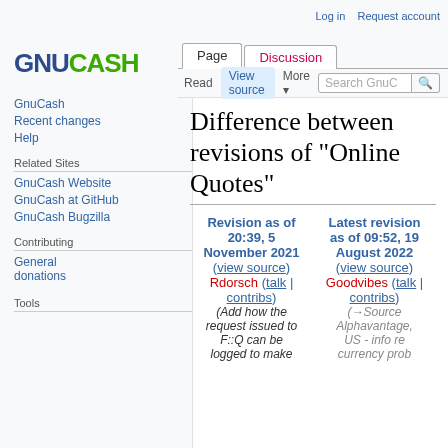Log in  Request account
[Figure (logo): GnuCash logo: GNU in dark blue bold, CASH in green bold]
GnuCash
Recent changes
Help
Related Sites
GnuCash Website
GnuCash at GitHub
GnuCash Bugzilla
Contributing
General donations
Tools
Difference between revisions of "Online Quotes"
| Revision as of 20:39, 5 November 2021 (view source)
Rdorsch (talk | contribs)
(Add how the request issued to F::Q can be logged to make | Latest revision as of 09:52, 19 August 2022 (view source)
Goodvibes (talk | contribs)
(→Source Alphavantage, US - info re currency prob |
| --- | --- |